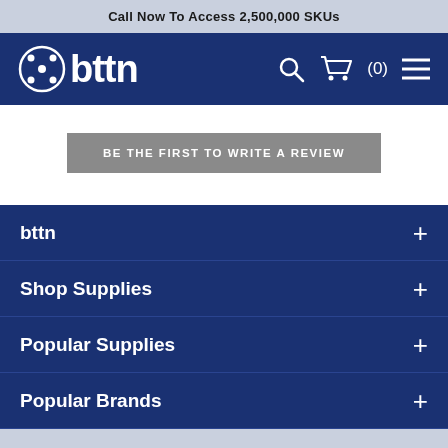Call Now To Access 2,500,000 SKUs
[Figure (logo): bttn logo with circular icon on dark blue navigation bar with search, cart (0), and hamburger menu icons]
BE THE FIRST TO WRITE A REVIEW
bttn +
Shop Supplies +
Popular Supplies +
Popular Brands +
Need Help Placing a Bulk